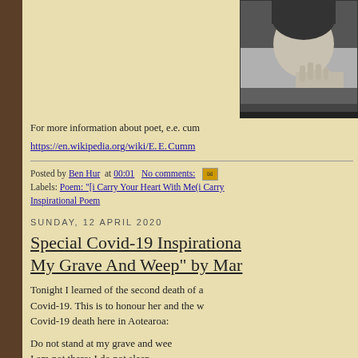[Figure (photo): Black and white photo of a person, partially visible, upper right of page]
For more information about poet, e.e. cum
https://en.wikipedia.org/wiki/E._E._Cumm
Posted by Ben Hur  at 00:01   No comments:
Labels: Poem: "[i Carry Your Heart With Me(i Carry   Inspirational Poem
SUNDAY, 12 APRIL 2020
Special Covid-19 Inspirationa My Grave And Weep" by Mar
Tonight I learned of the second death of a Covid-19. This is to honour her and the w Covid-19 death here in Aotearoa:
Do not stand at my grave and wee I am not there; I do not sleep.